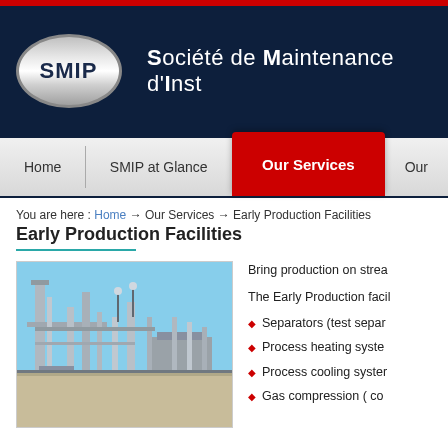[Figure (logo): SMIP oval logo in silver/chrome style]
Société de Maintenance d'Inst
Home | SMIP at Glance | Our Services | Our
You are here : Home → Our Services → Early Production Facilities
Early Production Facilities
[Figure (photo): Industrial oil and gas facility with towers, pipes, and structures under a clear sky]
Bring production on strea
The Early Production facil
Separators (test separ
Process heating syste
Process cooling syster
Gas compression ( co